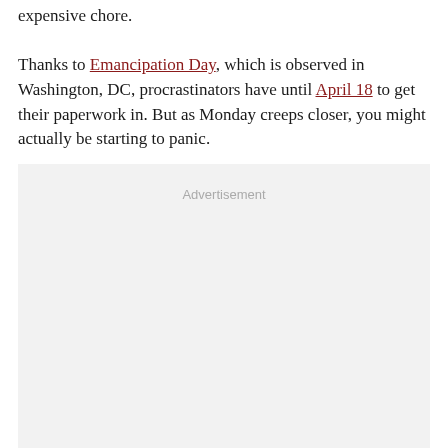expensive chore.

Thanks to Emancipation Day, which is observed in Washington, DC, procrastinators have until April 18 to get their paperwork in. But as Monday creeps closer, you might actually be starting to panic.
[Figure (other): Advertisement placeholder box with light gray background and 'Advertisement' label text centered near the top.]